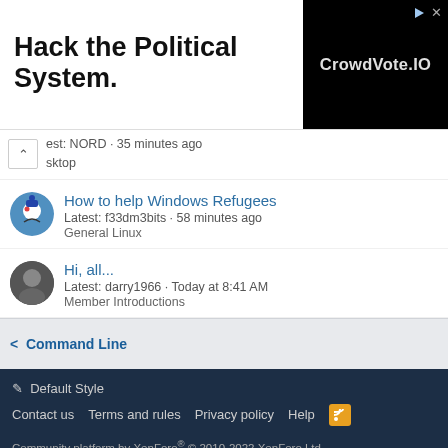[Figure (other): Advertisement banner: 'Hack the Political System.' on white background left side, 'CrowdVote.IO' in large bold white text on black background right side, with small navigation icons top-right.]
est: NORD · 35 minutes ago
sktop
How to help Windows Refugees
Latest: f33dm3bits · 58 minutes ago
General Linux
Hi, all...
Latest: darry1966 · Today at 8:41 AM
Member Introductions
Command Line
🖊 Default Style
Contact us   Terms and rules   Privacy policy   Help
Community platform by XenForo® © 2010-2022 XenForo Ltd.
Parts of this site powered by XenForo add-ons from DragonByte™ ©2011-2022 DragonByte Technologies Ltd. (Details)